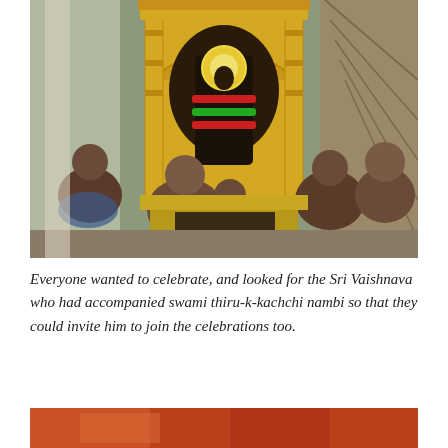[Figure (photo): A photo inside a Hindu temple showing priests performing a ritual in front of a decorated deity idol (appears to be Lord Vishnu/Venkateswara) adorned with gold ornaments and colorful garlands. Several bare-chested men are gathered around the deity.]
Everyone wanted to celebrate, and looked for the Sri Vaishnava who had accompanied swami thiru-k-kachchi nambi so that they could invite him to join the celebrations too.
[Figure (photo): Partial view of another photo below, showing warm orange/red tones, possibly another temple or ritual scene.]